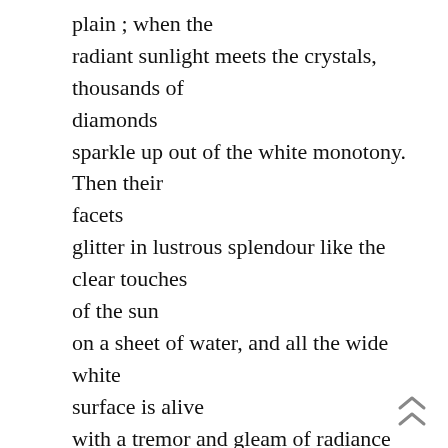plain ; when the radiant sunlight meets the crystals, thousands of diamonds sparkle up out of the white monotony. Then their facets glitter in lustrous splendour like the clear touches of the sun on a sheet of water, and all the wide white surface is alive with a tremor and gleam of radiance which seems to shoot up and hover in the air, filling all the broad expanse of ether with an aureole of crystalline scintillation.

In some places a broad stream of golden light flows over the snow-field, while the shadow of a slight cloud